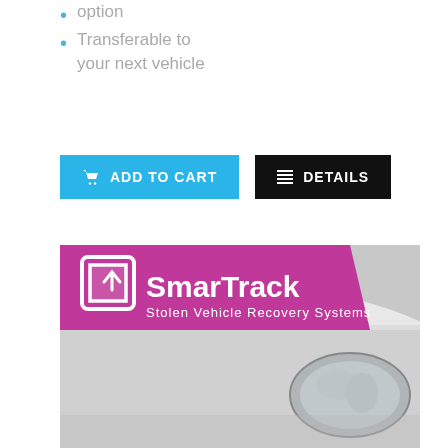option
Transferable to your next vehicle
[Figure (screenshot): ADD TO CART button (blue) and DETAILS button (black) side by side]
[Figure (photo): SmarTrack Stolen Vehicle Recovery Systems logo on a white car hood with headlight visible]